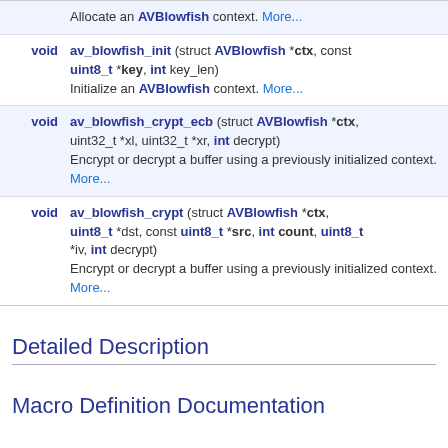| Return type | Function signature | Description |
| --- | --- | --- |
| void | av_blowfish_init (struct AVBlowfish *ctx, const uint8_t *key, int key_len) | Initialize an AVBlowfish context. More... |
| void | av_blowfish_crypt_ecb (struct AVBlowfish *ctx, uint32_t *xl, uint32_t *xr, int decrypt) | Encrypt or decrypt a buffer using a previously initialized context. More... |
| void | av_blowfish_crypt (struct AVBlowfish *ctx, uint8_t *dst, const uint8_t *src, int count, uint8_t *iv, int decrypt) | Encrypt or decrypt a buffer using a previously initialized context. More... |
Detailed Description
Macro Definition Documentation